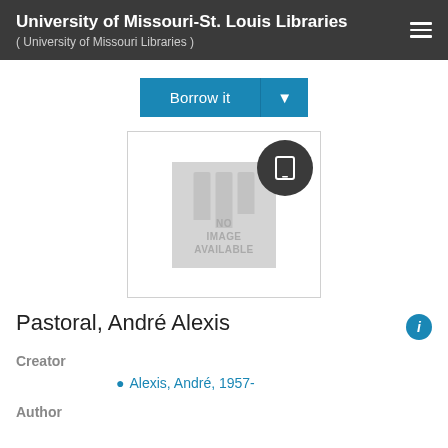University of Missouri-St. Louis Libraries ( University of Missouri Libraries )
Borrow it
[Figure (screenshot): Book cover placeholder showing 'NO IMAGE AVAILABLE' with grey background and columns graphic, overlaid with a dark circular tablet/ebook reader icon badge]
Pastoral, André Alexis
Creator
Alexis, André, 1957-
Author